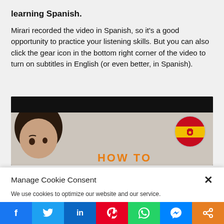learning Spanish.
Mirari recorded the video in Spanish, so it's a good opportunity to practice your listening skills. But you can also click the gear icon in the bottom right corner of the video to turn on subtitles in English (or even better, in Spanish).
[Figure (screenshot): Video thumbnail showing a woman with dark hair, a Spanish flag circle in the top right, and orange text partially visible at the bottom. The top portion of the video is black.]
Manage Cookie Consent
We use cookies to optimize our website and our service.
Accept